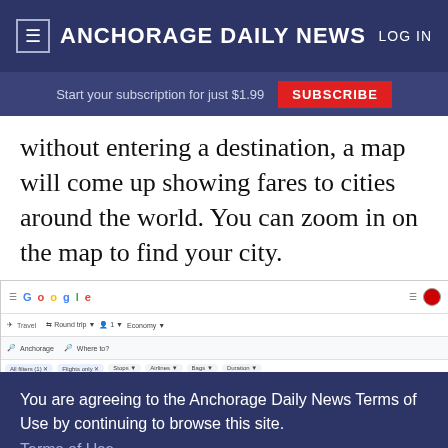Anchorage Daily News | LOG IN
Start your subscription for just $1.99 SUBSCRIBE
without entering a destination, a map will come up showing fares to cities around the world. You can zoom in on the map to find your city.
[Figure (screenshot): Google Flights interface screenshot showing a map with flight prices to various world cities including London ($2,148), Hong Kong ($736), and Jakarta ($1,645), overlaid by a cookie consent dialog for Anchorage Daily News.]
You are agreeing to the Anchorage Daily News Terms of Use by continuing to browse this site. Terms of Use
I Accept